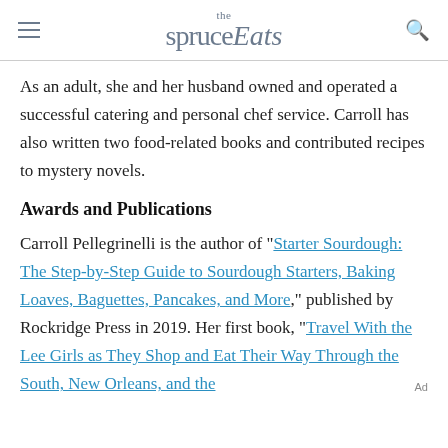the spruce Eats
As an adult, she and her husband owned and operated a successful catering and personal chef service. Carroll has also written two food-related books and contributed recipes to mystery novels.
Awards and Publications
Carroll Pellegrinelli is the author of "Starter Sourdough: The Step-by-Step Guide to Sourdough Starters, Baking Loaves, Baguettes, Pancakes, and More," published by Rockridge Press in 2019. Her first book, "Travel With the Lee Girls as They Shop and Eat Their Way Through the South, New Orleans, and the...